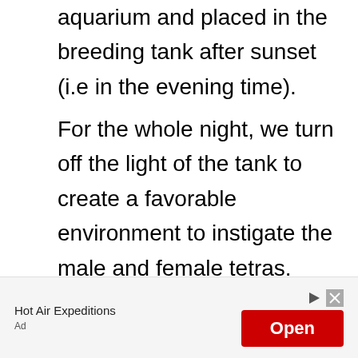aquarium and placed in the breeding tank after sunset (i.e in the evening time).
For the whole night, we turn off the light of the tank to create a favorable environment to instigate the male and female tetras. Also, if any sources of light hit the breeding tank, we cover the tank on all sides with a towel, ply, or any other objects. So, you do not need to switch on the light in the tetra breeding tank.
The next morning, we have to introduce the
[Figure (other): Advertisement banner for Hot Air Expeditions with an Open button]